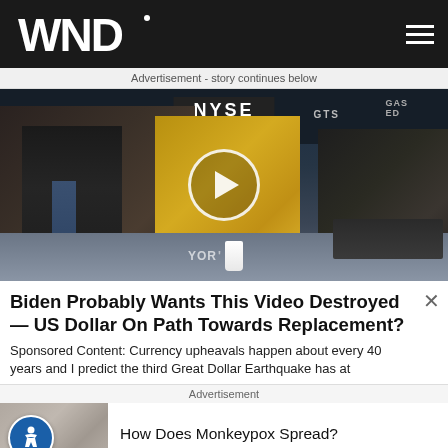WND
Advertisement - story continues below
[Figure (screenshot): Video thumbnail showing people seated at a desk at the NYSE (New York Stock Exchange) trading floor. A play button circle is overlaid in the center. Three people are visible: an older man in a dark suit on the left, a woman in yellow in the center, and another person on the right. 'YOR' partial text visible on desk signage.]
Biden Probably Wants This Video Destroyed — US Dollar On Path Towards Replacement?
Sponsored Content: Currency upheavals happen about every 40 years and I predict the third Great Dollar Earthquake has at
Advertisement
How Does Monkeypox Spread?